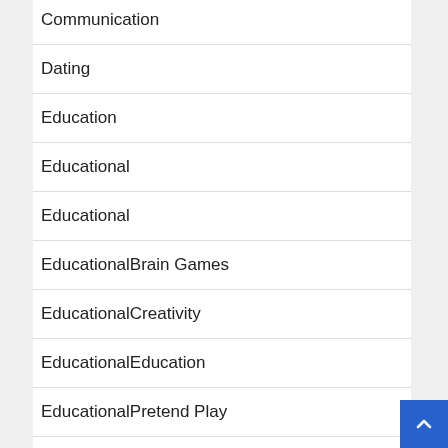Communication
Dating
Education
Educational
Educational
EducationalBrain Games
EducationalCreativity
EducationalEducation
EducationalPretend Play